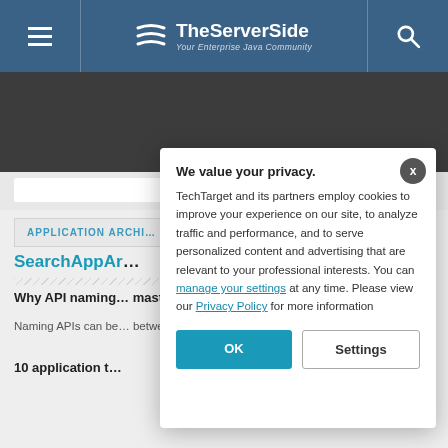TheServerSide — Your Enterprise Java Community
APPLICATION ARCHI…
SearchAppAr…
Why API naming… master the art
Naming APIs can be… between simplicity a…
10 application t…
We value your privacy.
TechTarget and its partners employ cookies to improve your experience on our site, to analyze traffic and performance, and to serve personalized content and advertising that are relevant to your professional interests. You can manage your settings at any time. Please view our Privacy Policy for more information